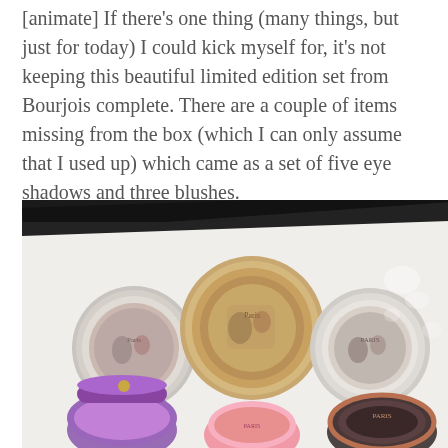[animate] If there's one thing (many things, but just for today) I could kick myself for, it's not keeping this beautiful limited edition set from Bourjois complete. There are a couple of items missing from the box (which I can only assume that I used up) which came as a set of five eye shadows and three blushes.
[Figure (photo): A flat-lay photograph of several round Bourjois Paris limited edition makeup compacts (eye shadows and blushes) with decorative Paris-themed lids, arranged on a white surface with a black ribbon, alongside a purple metallic cushion compact open showing a purple sponge.]